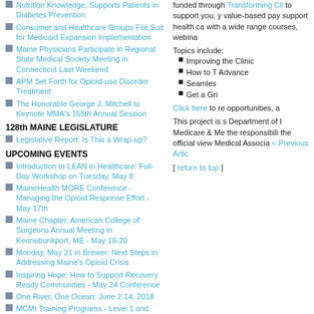Nutrition Knowledge, Supports Patients in Diabetes Prevention
Consumer and Healthcare Groups File Suit for Medicaid Expansion Implementation
Maine Physicians Participate in Regional State Medical Society Meeting in Connecticut Last Weekend
APM Set Forth for Opioid-use Disorder Treatment
The Honorable George J. Mitchell to Keynote MMA's 165th Annual Session
128th MAINE LEGISLATURE
Legislative Report: Is This a Wrap-up?
UPCOMING EVENTS
Introduction to LEAN in Healthcare: Full-Day Workshop on Tuesday, May 8
MaineHealth MORE Conference - Managing the Opioid Response Effort - May 17th
Maine Chapter, American College of Surgeons Annual Meeting in Kennebunkport, ME - May 18-20
Monday, May 21 in Brewer: Next Steps in Addressing Maine's Opioid Crisis
Inspiring Hope: How to Support Recovery Ready Communities - May 24 Conference
One River, One Ocean: June 2-14, 2018
MCMI Training Programs - Level 1 and Level 2 - June 22
New Free CME on Alzheimer's Risk, Detection, and Management
Peer Navigation Program from Facing Our Risk of Cancer Empowered (FORCE)
Online Learning Opportunities Offering CME Credits
funded through Transforming Cli to support you, y value-based pay support health ca with a wide range courses, webina
Topics include:
Improving the Clinic
How to T Advance
Seamles
Get a Gri
Click here to re opportunities, a
This project is s Department of I Medicare & Me the responsibili the official view Medical Associa < Previous Artic
[ return to top ]